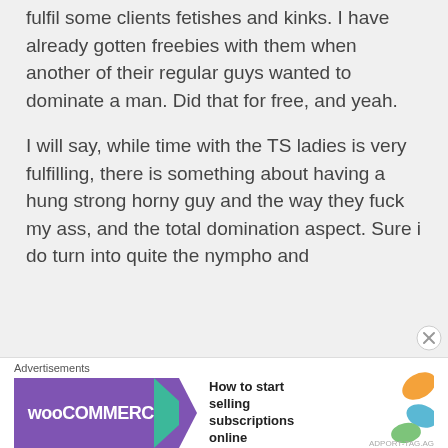fulfil some clients fetishes and kinks. I have already gotten freebies with them when another of their regular guys wanted to dominate a man. Did that for free, and yeah.

I will say, while time with the TS ladies is very fulfilling, there is something about having a hung strong horny guy and the way they fuck my ass, and the total domination aspect. Sure i do turn into quite the nympho and
[Figure (other): WooCommerce advertisement banner: purple background with WooCommerce logo and text 'How to start selling subscriptions online', with teal arrow graphic and orange/blue leaf decorations]